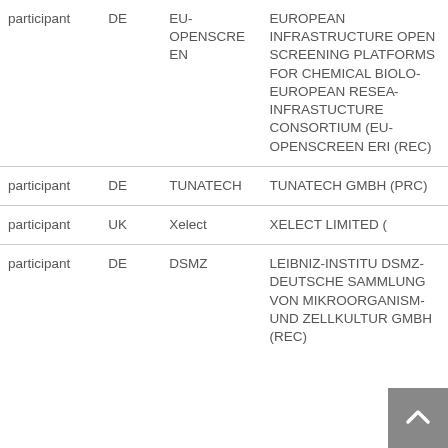| role | country | short name | full name |
| --- | --- | --- | --- |
| participant | DE | EU-OPENSCREEN | EUROPEAN INFRASTRUCTURE OPEN SCREENING PLATFORMS FOR CHEMICAL BIOLOGY EUROPEAN RESEARCH INFRASTUCTURE CONSORTIUM (EU-OPENSCREEN ERIC) (REC) |
| participant | DE | TUNATECH | TUNATECH GMBH (PRC) |
| participant | UK | Xelect | XELECT LIMITED (… |
| participant | DE | DSMZ | LEIBNIZ-INSTITUT DSMZ-DEUTSCHE SAMMLUNG VON MIKROORGANISMEN UND ZELLKULTUREN GMBH (REC) |